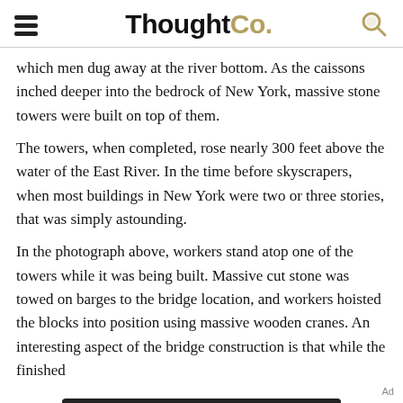ThoughtCo.
which men dug away at the river bottom. As the caissons inched deeper into the bedrock of New York, massive stone towers were built on top of them.
The towers, when completed, rose nearly 300 feet above the water of the East River. In the time before skyscrapers, when most buildings in New York were two or three stories, that was simply astounding.
In the photograph above, workers stand atop one of the towers while it was being built. Massive cut stone was towed on barges to the bridge location, and workers hoisted the blocks into position using massive wooden cranes. An interesting aspect of the bridge construction is that while the finished
[Figure (other): Dotdash Meredith advertisement banner: 'We help people find answers, solve problems and get inspired.' with Dotdash Meredith logo]